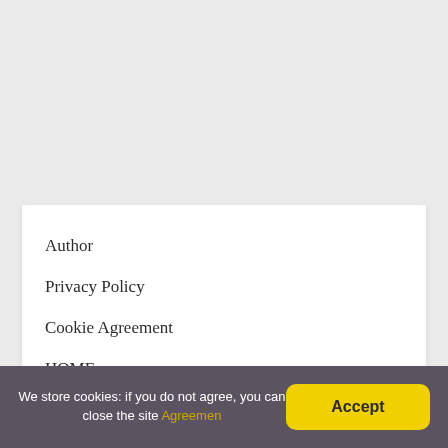Author
Privacy Policy
Cookie Agreement
HOME
WHO WE ARE
We store cookies: if you do not agree, you can close the site Agreemen